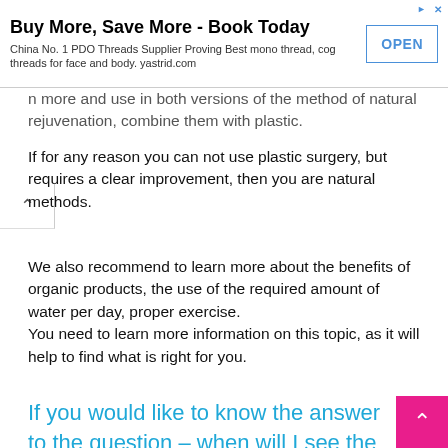[Figure (other): Advertisement banner: 'Buy More, Save More - Book Today' for China No. 1 PDO Threads Supplier, yastrid.com, with OPEN button]
n more and use in both versions of the method of natural rejuvenation, combine them with plastic.
If for any reason you can not use plastic surgery, but requires a clear improvement, then you are natural methods.
We also recommend to learn more about the benefits of organic products, the use of the required amount of water per day, proper exercise.
You need to learn more information on this topic, as it will help to find what is right for you.
If you would like to know the answer to the question – when will I see the result of adding natural techniques